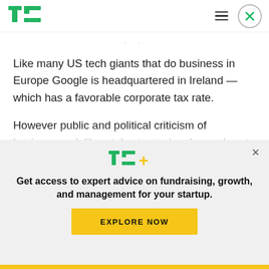TechCrunch header with logo, hamburger menu, and close button
Like many US tech giants that do business in Europe Google is headquartered in Ireland — which has a favorable corporate tax rate.
However public and political criticism of businesses deliberately structuring themselves to minimize local tax liabilities has been growing in recent years
[Figure (logo): TC+ logo overlay banner with text: Get access to expert advice on fundraising, growth, and management for your startup. EXPLORE NOW button.]